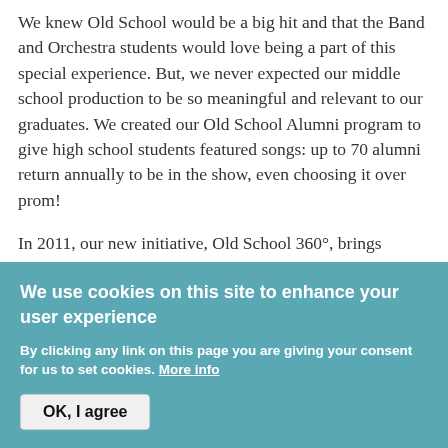We knew Old School would be a big hit and that the Band and Orchestra students would love being a part of this special experience. But, we never expected our middle school production to be so meaningful and relevant to our graduates. We created our Old School Alumni program to give high school students featured songs: up to 70 alumni return annually to be in the show, even choosing it over prom!

In 2011, our new initiative, Old School 360°, brings complete circular leadership above and below us to our K-12 feeder schools. It includes a special Old School Honors Chorus to stoke the enthusiasm of 5th graders who are ready to
We use cookies on this site to enhance your user experience
By clicking any link on this page you are giving your consent for us to set cookies. More info
OK, I agree